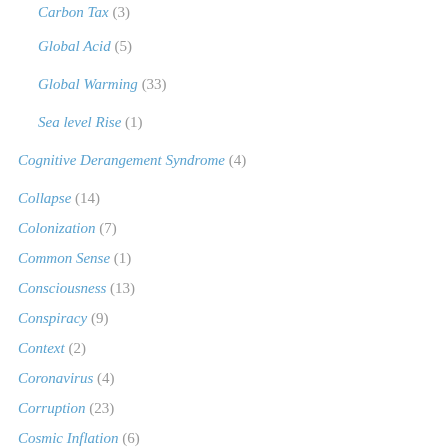Carbon Tax (3)
Global Acid (5)
Global Warming (33)
Sea level Rise (1)
Cognitive Derangement Syndrome (4)
Collapse (14)
Colonization (7)
Common Sense (1)
Consciousness (13)
Conspiracy (9)
Context (2)
Coronavirus (4)
Corruption (23)
Cosmic Inflation (6)
Cosmology (8)
Cosmos (1)
COVID 19 (9)
Crete (1)
Criminal Against Humanity (1)
Crisis (5)